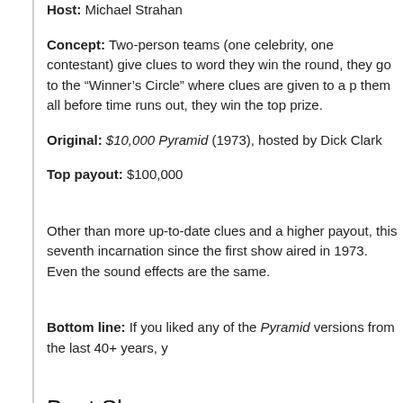Host: Michael Strahan
Concept: Two-person teams (one celebrity, one contestant) give clues to words. If they win the round, they go to the “Winner’s Circle” where clues are given to a player. If they name them all before time runs out, they win the top prize.
Original: $10,000 Pyramid (1973), hosted by Dick Clark
Top payout: $100,000
Other than more up-to-date clues and a higher payout, this seventh incarnation is nearly identical since the first show aired in 1973. Even the sound effects are the same.
Bottom line: If you liked any of the Pyramid versions from the last 40+ years, y
Beat Shazaam
Host: Jamie Foxx
Concept: Snippets of songs are played while two-person teams try to guess th team. If they win the round, they play for the top prize.